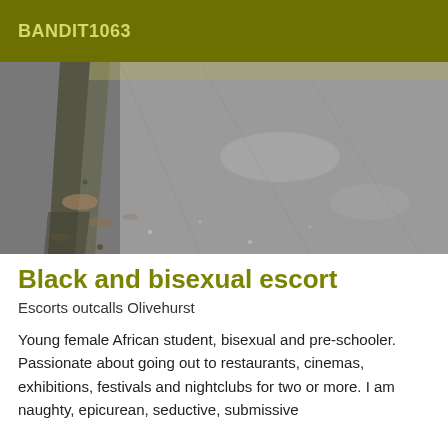BANDIT1063
[Figure (photo): Outdoor ground-level photo showing a stone or concrete curb corner with rough pavement surface, gravel and debris visible, muted grey tones.]
Black and bisexual escort
Escorts outcalls Olivehurst
Young female African student, bisexual and pre-schooler. Passionate about going out to restaurants, cinemas, exhibitions, festivals and nightclubs for two or more. I am naughty, epicurean, seductive, submissive